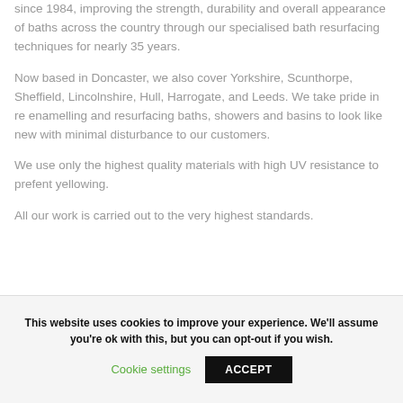since 1984, improving the strength, durability and overall appearance of baths across the country through our specialised bath resurfacing techniques for nearly 35 years.
Now based in Doncaster, we also cover Yorkshire, Scunthorpe, Sheffield, Lincolnshire, Hull, Harrogate, and Leeds. We take pride in re enamelling and resurfacing baths, showers and basins to look like new with minimal disturbance to our customers.
We use only the highest quality materials with high UV resistance to prefent yellowing.
All our work is carried out to the very highest standards.
This website uses cookies to improve your experience. We'll assume you're ok with this, but you can opt-out if you wish.
Cookie settings | ACCEPT